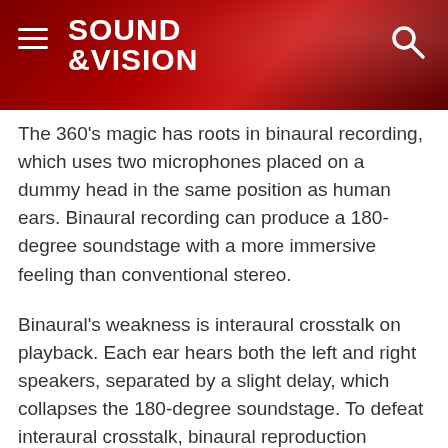SOUND &VISION
The 360’s magic has roots in binaural recording, which uses two microphones placed on a dummy head in the same position as human ears. Binaural recording can produce a 180-degree soundstage with a more immersive feeling than conventional stereo.
Binaural’s weakness is interaural crosstalk on playback. Each ear hears both the left and right speakers, separated by a slight delay, which collapses the 180-degree soundstage. To defeat interaural crosstalk, binaural reproduction requires either headphones (which physically seal each channel’s sound into only the appropriate ear) or